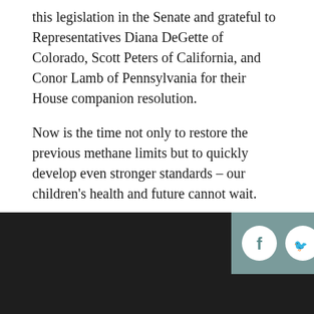this legislation in the Senate and grateful to Representatives Diana DeGette of Colorado, Scott Peters of California, and Conor Lamb of Pennsylvania for their House companion resolution.
Now is the time not only to restore the previous methane limits but to quickly develop even stronger standards – our children's health and future cannot wait.
◀ Return To List
[Figure (other): Footer bar with teal/dark background containing Facebook and Twitter social media icons as white circular buttons]